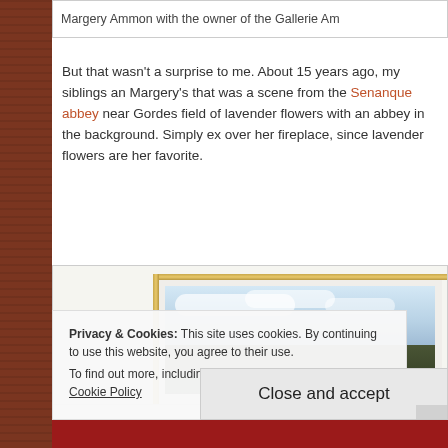Margery Ammon with the owner of the Gallerie Am
But that wasn't a surprise to me. About 15 years ago, my siblings and Margery's that was a scene from the Senanque abbey near Gordes field of lavender flowers with an abbey in the background. Simply exquisite over her fireplace, since lavender flowers are her favorite.
[Figure (photo): A framed painting showing a landscape with sky, clouds, and dark trees in the foreground, displayed in a white mat and gold frame.]
Privacy & Cookies: This site uses cookies. By continuing to use this website, you agree to their use.
To find out more, including how to control cookies, see here: Cookie Policy
Close and accept